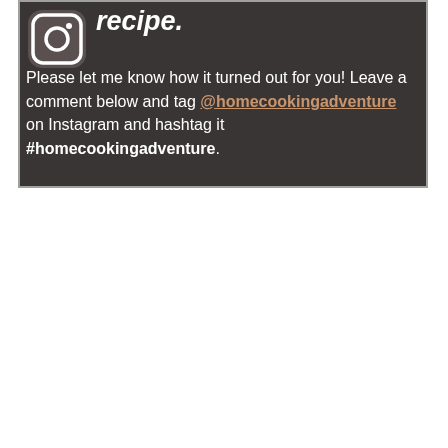[Figure (logo): Instagram logo icon in white on dark rounded square background]
recipe. Please let me know how it turned out for you! Leave a comment below and tag @homecookingadventure on Instagram and hashtag it #homecookingadventure.